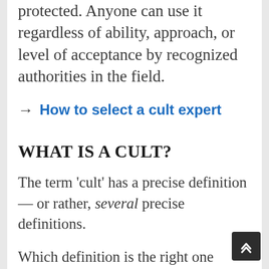protected. Anyone can use it regardless of ability, approach, or level of acceptance by recognized authorities in the field.
→ How to select a cult expert
WHAT IS A CULT?
The term 'cult' has a precise definition — or rather, several precise definitions.
Which definition is the right one largely depends on the context in